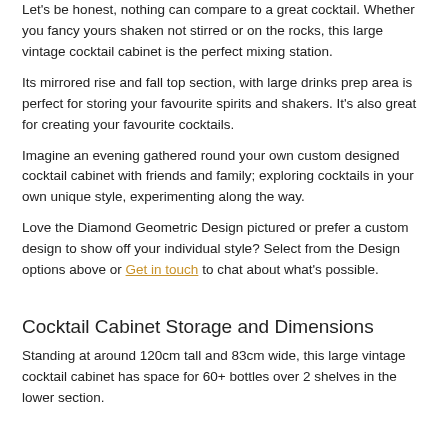Let's be honest, nothing can compare to a great cocktail. Whether you fancy yours shaken not stirred or on the rocks, this large vintage cocktail cabinet is the perfect mixing station.
Its mirrored rise and fall top section, with large drinks prep area is perfect for storing your favourite spirits and shakers. It's also great for creating your favourite cocktails.
Imagine an evening gathered round your own custom designed cocktail cabinet with friends and family; exploring cocktails in your own unique style, experimenting along the way.
Love the Diamond Geometric Design pictured or prefer a custom design to show off your individual style? Select from the Design options above or Get in touch to chat about what's possible.
Cocktail Cabinet Storage and Dimensions
Standing at around 120cm tall and 83cm wide, this large vintage cocktail cabinet has space for 60+ bottles over 2 shelves in the lower section.